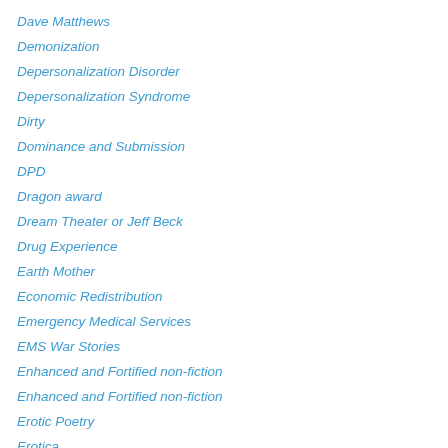Dave Matthews
Demonization
Depersonalization Disorder
Depersonalization Syndrome
Dirty
Dominance and Submission
DPD
Dragon award
Dream Theater or Jeff Beck
Drug Experience
Earth Mother
Economic Redistribution
Emergency Medical Services
EMS War Stories
Enhanced and Fortified non-fiction
Enhanced and Fortified non-fiction
Erotic Poetry
Erotica
Escape Velocity
Explicit Sexual Language